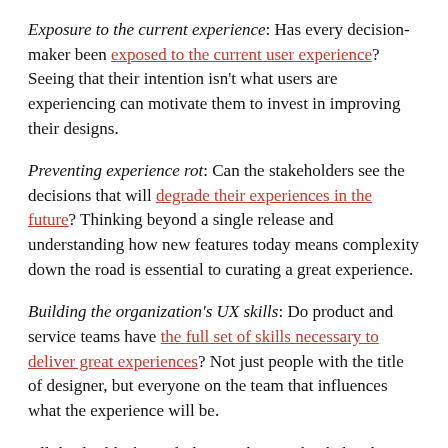Exposure to the current experience: Has every decision-maker been exposed to the current user experience? Seeing that their intention isn't what users are experiencing can motivate them to invest in improving their designs.
Preventing experience rot: Can the stakeholders see the decisions that will degrade their experiences in the future? Thinking beyond a single release and understanding how new features today means complexity down the road is essential to curating a great experience.
Building the organization's UX skills: Do product and service teams have the full set of skills necessary to deliver great experiences? Not just people with the title of designer, but everyone on the team that influences what the experience will be.
All this builds the underlying substrate that helps the